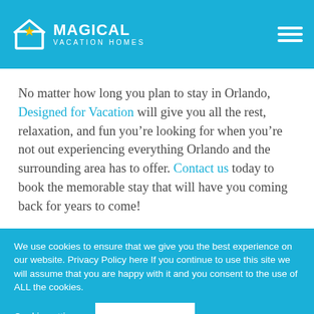MAGICAL VACATION HOMES
No matter how long you plan to stay in Orlando, Designed for Vacation will give you all the rest, relaxation, and fun you’re looking for when you’re not out experiencing everything Orlando and the surrounding area has to offer. Contact us today to book the memorable stay that will have you coming back for years to come!
We use cookies to ensure that we give you the best experience on our website. Privacy Policy here If you continue to use this site we will assume that you are happy with it and you consent to the use of ALL the cookies.
Cookie settings
ACCEPT